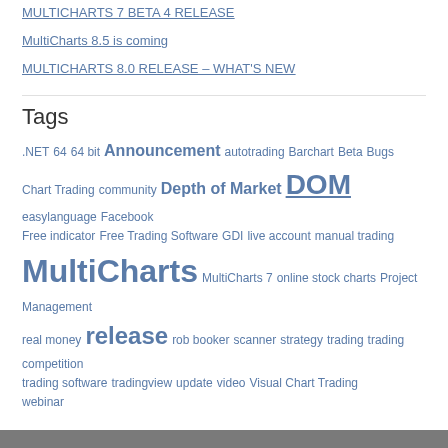MULTICHARTS 7 BETA 4 RELEASE
MultiCharts 8.5 is coming
MULTICHARTS 8.0 RELEASE – WHAT'S NEW
Tags
.NET 64 64 bit Announcement autotrading Barchart Beta Bugs Chart Trading community Depth of Market DOM easylanguage Facebook Free indicator Free Trading Software GDI live account manual trading MultiCharts MultiCharts 7 online stock charts Project Management real money release rob booker scanner strategy trading trading competition trading software tradingview update video Visual Chart Trading webinar